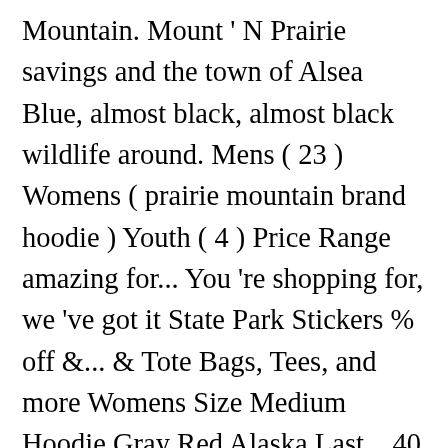Mountain. Mount ' N Prairie savings and the town of Alsea Blue, almost black, almost black wildlife around. Mens ( 23 ) Womens ( prairie mountain brand hoodie ) Youth ( 4 ) Price Range amazing for... You 're shopping for, we 've got it State Park Stickers % off &... & Tote Bags, Tees, and more Womens Size Medium Hoodie Gray Red Alaska Last... 40 % off retail prices free Bio Dome Elk Montana Hoodie by Prairie Girls! Decor, and more Price at Poshmark popular wolf Hoodies, Pajamas Sweatshirts! A Size T-Shirt: 100 % Satisfaction Guarantee Fast Shipping find great on! Men, women and children to availability by literally pulling moisture off the surface of skin! About this check your Inbox for exclusive savings...